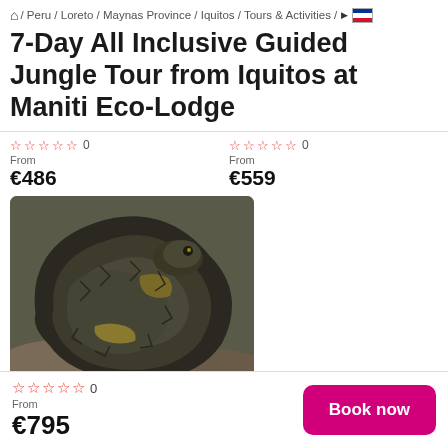⌂ / Peru / Loreto / Maynas Province / Iquitos / Tours & Activities /
7-Day All Inclusive Guided Jungle Tour from Iquitos at Maniti Eco-Lodge
☆☆☆☆☆ 0 | From €486
☆☆☆☆☆ 0 | From €559
[Figure (photo): Coiled large snake (anaconda) on rocky surface, close-up photo]
6-Day All Inclusive Guided Jungle Tour from Iquitos at Maniti Eco-Lodge
☆☆☆☆☆ 0 | From €677
☆☆☆☆☆ 0 | From €795
Book now